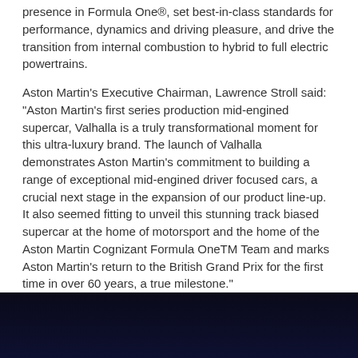presence in Formula One®, set best-in-class standards for performance, dynamics and driving pleasure, and drive the transition from internal combustion to hybrid to full electric powertrains.
Aston Martin's Executive Chairman, Lawrence Stroll said: "Aston Martin's first series production mid-engined supercar, Valhalla is a truly transformational moment for this ultra-luxury brand. The launch of Valhalla demonstrates Aston Martin's commitment to building a range of exceptional mid-engined driver focused cars, a crucial next stage in the expansion of our product line-up. It also seemed fitting to unveil this stunning track biased supercar at the home of motorsport and the home of the Aston Martin Cognizant Formula OneTM Team and marks Aston Martin's return to the British Grand Prix for the first time in over 60 years, a true milestone."
[Figure (photo): Dark image, mostly black/dark navy, appears to be a nighttime or dimly lit scene at bottom of page.]